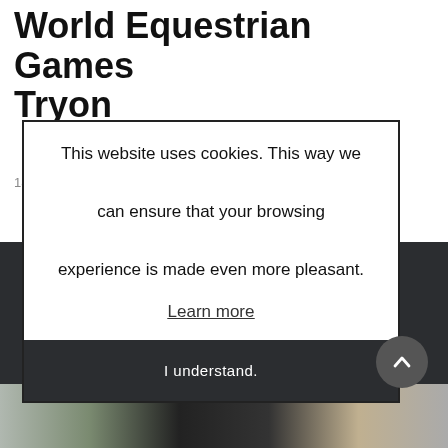World Equestrian Games Tryon
18-09-2018
This website uses cookies. This way we can ensure that your browsing experience is made even more pleasant.
Learn more
I understand.